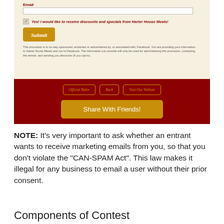[Figure (screenshot): Screenshot of a Facebook promotion form for Harter House Meats. Shows an email input field, a checked checkbox with label 'Yes! I would like to receive discounts and specials from Harter House Meats!', a gold Submit button, a disclaimer text, three outline buttons (Official Rules, Back, Visit Our Website), and a large gold 'Share With Friends!' button, all on a dark red background.]
NOTE: It's very important to ask whether an entrant wants to receive marketing emails from you, so that you don't violate the "CAN-SPAM Act". This law makes it illegal for any business to email a user without their prior consent.
Components of Contest